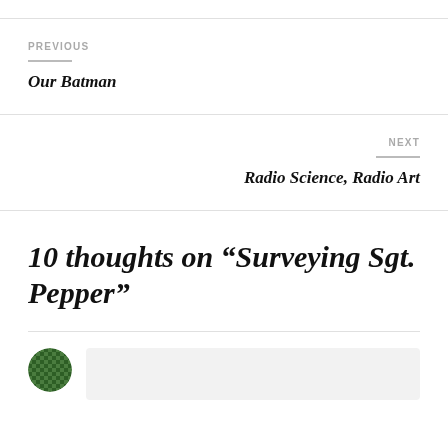PREVIOUS
Our Batman
NEXT
Radio Science, Radio Art
10 thoughts on “Surveying Sgt. Pepper”